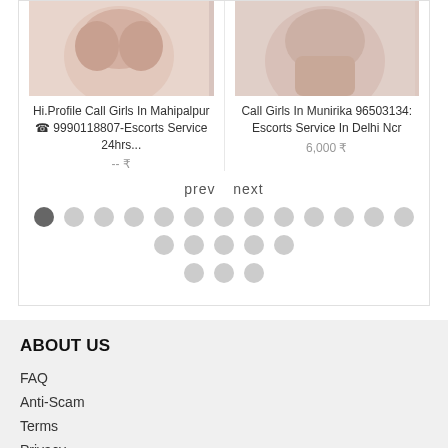[Figure (photo): Photo of woman in light pink/beige top, cropped at chest level]
[Figure (photo): Photo of woman, partial body shot]
Hi.Profile Call Girls In Mahipalpur ☎ 9990118807-Escorts Service 24hrs...
-- ₹
Call Girls In Munirika 96503134: Escorts Service In Delhi Ncr
6,000 ₹
prev  next
ABOUT US
FAQ
Anti-Scam
Terms
Privacy
CONTACT & SITEMAP